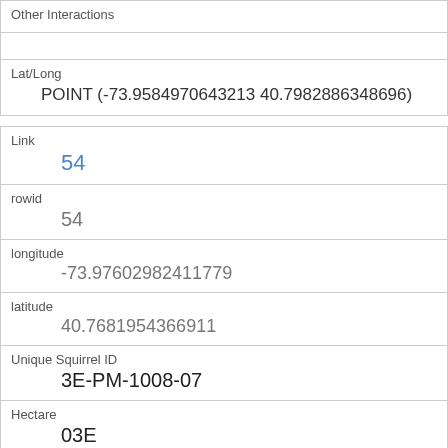| Other Interactions |  |
| Lat/Long | POINT (-73.9584970643213 40.7982886348696) |
| Link | 54 |
| rowid | 54 |
| longitude | -73.97602982411779 |
| latitude | 40.7681954366911 |
| Unique Squirrel ID | 3E-PM-1008-07 |
| Hectare | 03E |
| Shift | PM |
| Date |  |